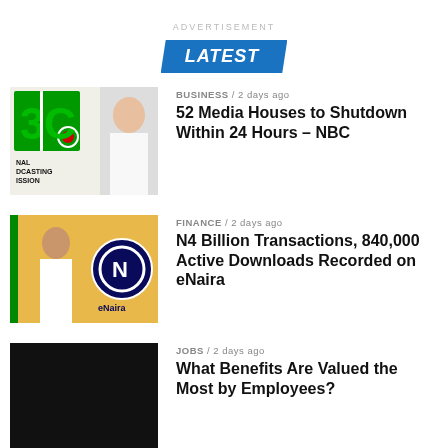ADVERTISEMENT
LATEST
BUSINESS / 2 days ago
52 Media Houses to Shutdown Within 24 Hours – NBC
FINANCE / 2 days ago
N4 Billion Transactions, 840,000 Active Downloads Recorded on eNaira
JOBS / 2 days ago
What Benefits Are Valued the Most by Employees?